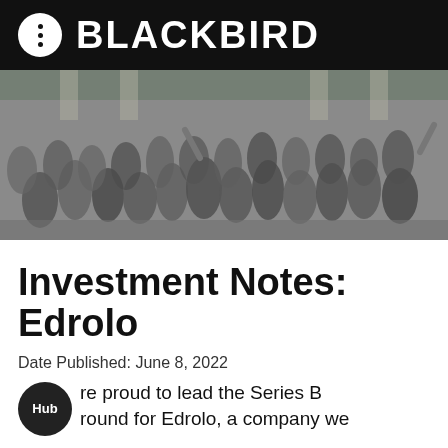BLACKBIRD
[Figure (photo): Large group photo of diverse people posing together on steps of a building, many in colorful costumes and outfits]
Investment Notes: Edrolo
Date Published: June 8, 2022
We are proud to lead the Series B round for Edrolo, a company we